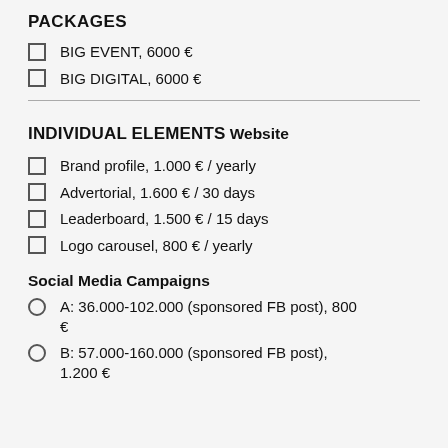PACKAGES
BIG EVENT, 6000 €
BIG DIGITAL, 6000 €
INDIVIDUAL ELEMENTS
Website
Brand profile, 1.000 € / yearly
Advertorial, 1.600 € / 30 days
Leaderboard, 1.500 € / 15 days
Logo carousel, 800 € / yearly
Social Media Campaigns
A: 36.000-102.000 (sponsored FB post), 800 €
B: 57.000-160.000 (sponsored FB post), 1.200 €